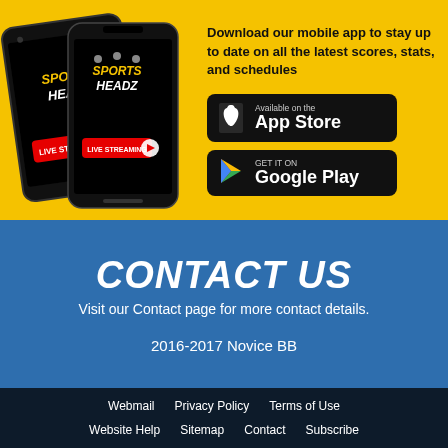[Figure (illustration): Two Sports Headz app mobile phone mockups showing a sports streaming app with live streaming feature]
Download our mobile app to stay up to date on all the latest scores, stats, and schedules
[Figure (illustration): Available on the App Store button (black rounded rectangle)]
[Figure (illustration): Get it on Google Play button (black rounded rectangle)]
CONTACT US
Visit our Contact page for more contact details.
2016-2017 Novice BB
Webmail   Privacy Policy   Terms of Use   Website Help   Sitemap   Contact   Subscribe